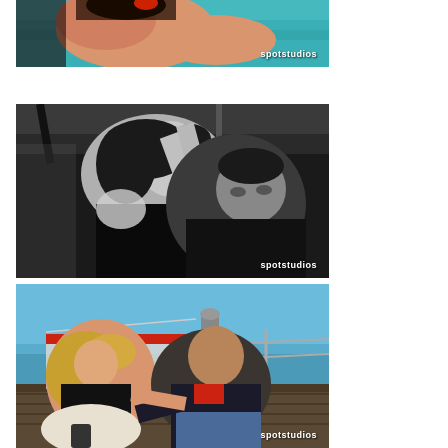[Figure (photo): Partial photo at top showing a woman near a pool/water, with spotstudios watermark in bottom right]
[Figure (photo): Black and white photo of a couple in a romantic pose, woman leaning over man, shot on a boat/dock setting, with spotstudios watermark in bottom right]
[Figure (photo): Color photo of a couple sitting on a dock/pier with blue sky and water in background, woman in black top and white skirt, man in dark jacket with red shirt, with spotstudios watermark in bottom right]